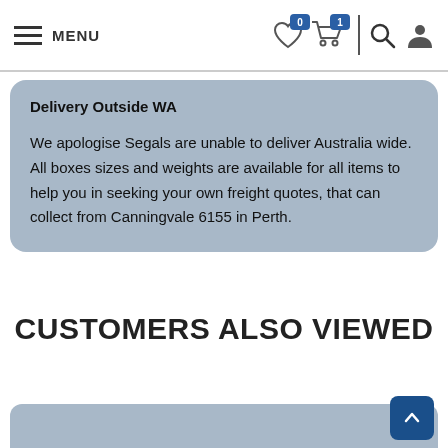MENU
Delivery Outside WA
We apologise Segals are unable to deliver Australia wide.  All boxes sizes and weights are available for all items to help you in seeking your own freight quotes, that can collect from Canningvale 6155 in Perth.
CUSTOMERS ALSO VIEWED